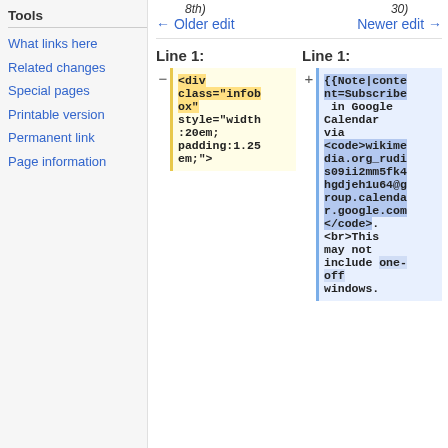Tools
What links here
Related changes
Special pages
Printable version
Permanent link
Page information
← Older edit
Newer edit →
Line 1:
Line 1:
<div class="infobox" style="width:20em; padding:1.25em;">
{{Note|content=Subscribe in Google Calendar via <code>wikimedia.org_rudis09ii2mm5fk4hgdjeh1u64@group.calendar.google.com</code>.<br>This may not include one-off windows.